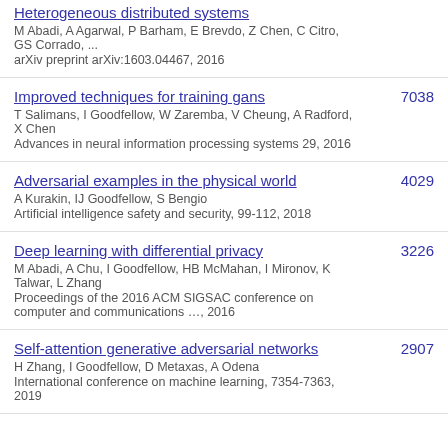Heterogeneous distributed systems
M Abadi, A Agarwal, P Barham, E Brevdo, Z Chen, C Citro, GS Corrado, ...
arXiv preprint arXiv:1603.04467, 2016
Improved techniques for training gans
T Salimans, I Goodfellow, W Zaremba, V Cheung, A Radford, X Chen
Advances in neural information processing systems 29, 2016
7038
Adversarial examples in the physical world
A Kurakin, IJ Goodfellow, S Bengio
Artificial intelligence safety and security, 99-112, 2018
4029
Deep learning with differential privacy
M Abadi, A Chu, I Goodfellow, HB McMahan, I Mironov, K Talwar, L Zhang
Proceedings of the 2016 ACM SIGSAC conference on computer and communications …, 2016
3226
Self-attention generative adversarial networks
H Zhang, I Goodfellow, D Metaxas, A Odena
International conference on machine learning, 7354-7363, 2019
2907